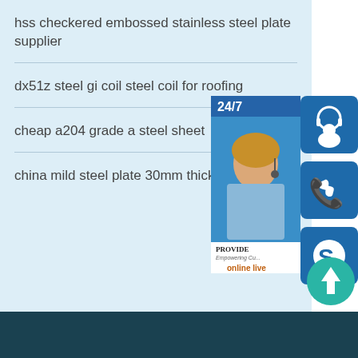hss checkered embossed stainless steel plate supplier
dx51z steel gi coil steel coil for roofing
cheap a204 grade a steel sheet
china mild steel plate 30mm thick steel sheet
[Figure (photo): Customer service representative with headset, with 24/7 label, PROVIDE Empowering Customers text, online live button, headset icon, phone icon, and Skype icon overlaid on right side]
[Figure (other): Scroll to top circular teal button with upward arrow]